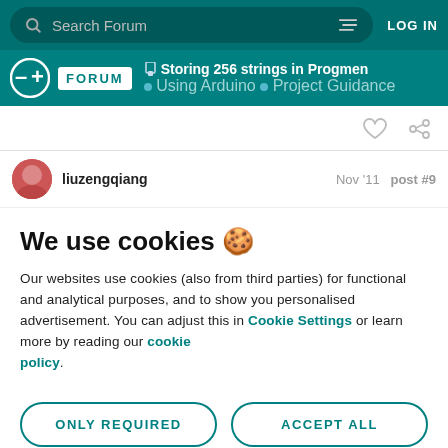Search Forum | LOG IN
Storing 256 strings in Progmen | Using Arduino > Project Guidance
liuzengqiang  Nov '11  post #9
We use cookies 🍪
Our websites use cookies (also from third parties) for functional and analytical purposes, and to show you personalised advertisement. You can adjust this in Cookie Settings or learn more by reading our cookie policy.
ONLY REQUIRED
ACCEPT ALL